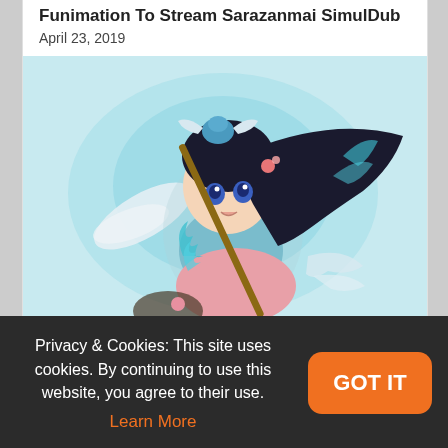Funimation To Stream Sarazanmai SimulDub
April 23, 2019
[Figure (illustration): Anime illustration of a young girl with long black hair holding a staff with a blue bird on top, wearing a light blue outfit, with teal magical energy effects around her]
Funimation Reveals “And you thought there is
Privacy & Cookies: This site uses cookies. By continuing to use this website, you agree to their use. Learn More
GOT IT